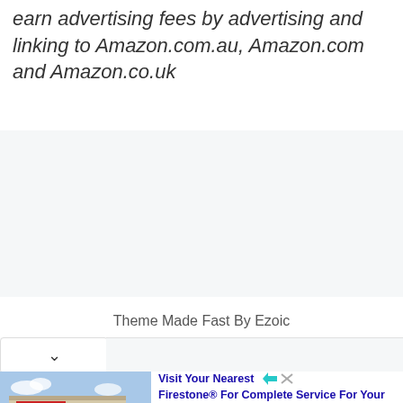earn advertising fees by advertising and linking to Amazon.com.au, Amazon.com and Amazon.co.uk
Theme Made Fast By Ezoic
[Figure (screenshot): Advertisement banner showing a Firestone auto service store building photo on the left, with text on the right: 'Visit Your Nearest Firestone® For Complete Service For Your Vehicle By Expert Technicians.' with ad icons and 'Ad' label below.]